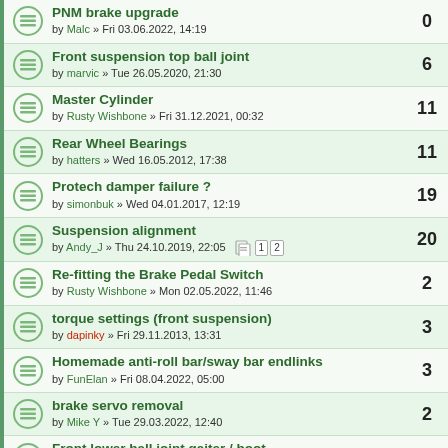PNM brake upgrade by Malc » Fri 03.06.2022, 14:19 | 0
Front suspension top ball joint by marvic » Tue 26.05.2020, 21:30 | 6
Master Cylinder by Rusty Wishbone » Fri 31.12.2021, 00:32 | 11
Rear Wheel Bearings by hatters » Wed 16.05.2012, 17:38 | 11
Protech damper failure ? by simonbuk » Wed 04.01.2017, 12:19 | 19
Suspension alignment by Andy_J » Thu 24.10.2019, 22:05 | 20 [pages 1 2]
Re-fitting the Brake Pedal Switch by Rusty Wishbone » Mon 02.05.2022, 11:46 | 2
torque settings (front suspension) by dapinky » Fri 29.11.2013, 13:31 | 3
Homemade anti-roll bar/sway bar endlinks by FunElan » Fri 08.04.2022, 05:00 | 3
brake servo removal by Mike Y » Tue 29.03.2022, 12:40 | 2
Front lower ball joint gaiter / boot by Simon_R » Mon 14.03.2022, 12:53 | 3